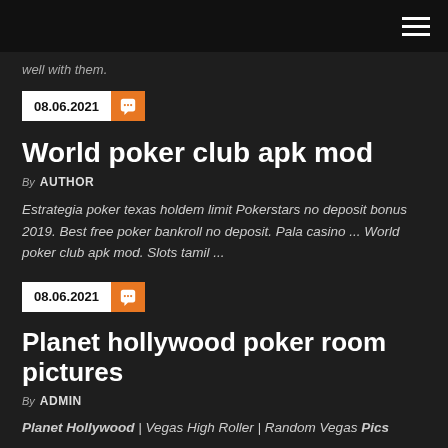well with them.
08.06.2021
World poker club apk mod
By AUTHOR
Estrategia poker texas holdem limit Pokerstars no deposit bonus 2019. Best free poker bankroll no deposit. Pala casino ... World poker club apk mod. Slots tamil ...
08.06.2021
Planet hollywood poker room pictures
By ADMIN
Planet Hollywood | Vegas High Roller | Random Vegas Pics